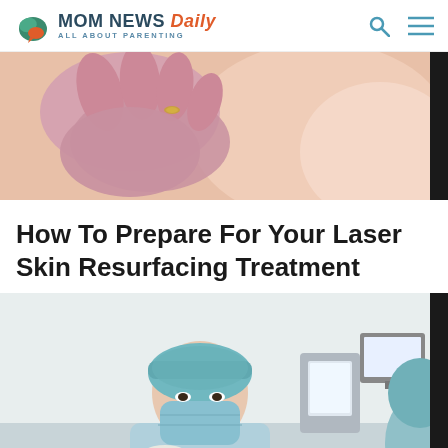MOM NEWS Daily — ALL ABOUT PARENTING
[Figure (photo): Close-up of a person's neck and chin area with a gloved hand touching the skin, on dark background border]
How To Prepare For Your Laser Skin Resurfacing Treatment
[Figure (photo): Medical professional wearing blue surgical cap and face mask working in a medical/surgical room with equipment and a monitor visible in the background]